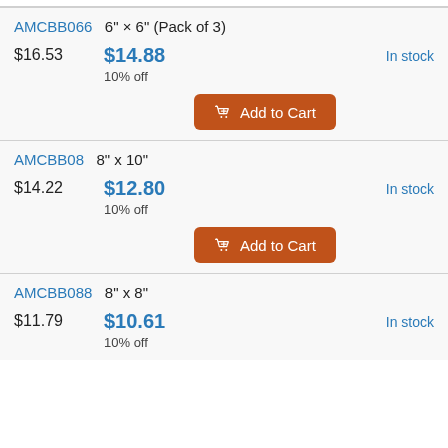| Product ID | Size | Original Price | Sale Price | Discount | Availability |
| --- | --- | --- | --- | --- | --- |
| AMCBB066 | 6" × 6" (Pack of 3) | $16.53 | $14.88 | 10% off | In stock |
| AMCBB08 | 8" x 10" | $14.22 | $12.80 | 10% off | In stock |
| AMCBB088 | 8" x 8" | $11.79 | $10.61 | 10% off | In stock |